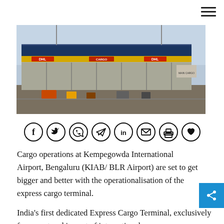[Figure (photo): Exterior photograph of a cargo terminal building at Kempegowda International Airport, Bengaluru. The building has a blue roof, yellow striping, DHL branding in red, and various cargo vehicles and equipment visible in the foreground.]
[Figure (infographic): Social media sharing icons in circles: Facebook, Twitter, WhatsApp, Telegram, LinkedIn, Email, Print, and a bookmark/share icon]
Cargo operations at Kempegowda International Airport, Bengaluru (KIAB/ BLR Airport) are set to get bigger and better with the operationalisation of the express cargo terminal.
India's first dedicated Express Cargo Terminal, exclusively for export and import of international